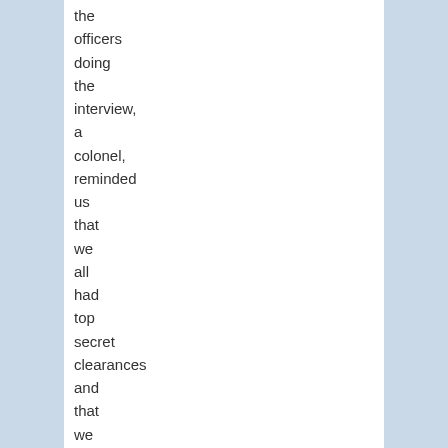the officers doing the interview, a colonel, reminded us that we all had top secret clearances and that we were aware that we